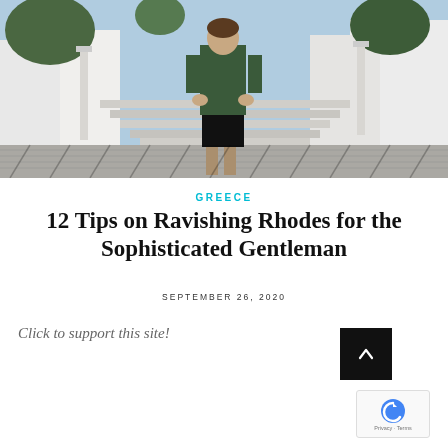[Figure (photo): A man in a dark green polo shirt and black shorts standing on a white-walled Mediterranean street with decorative patterned pavement and lush greenery in the background, likely Rhodes, Greece.]
GREECE
12 Tips on Ravishing Rhodes for the Sophisticated Gentleman
SEPTEMBER 26, 2020
Click to support this site!